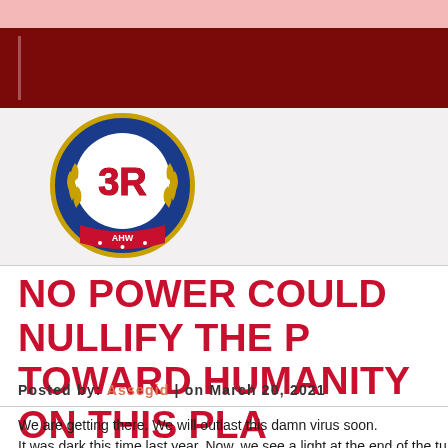[Figure (logo): 3R logo with blue circular border, gold laurel wreath, bold red 3R text in center, and red ribbon at bottom with 'AHW' text]
NO POWER COULD NULLIFY THE P... TOWARD HUMANITY ON THIS PLA...
Posted by: Assegid | on March 20, 2021
We are getting there. We will outlast this damn virus soon.
It was dark this time last year. Now, we see a light at the end of the tu...
We, humans, are still in charge in this universe. Nothing, let alone a...